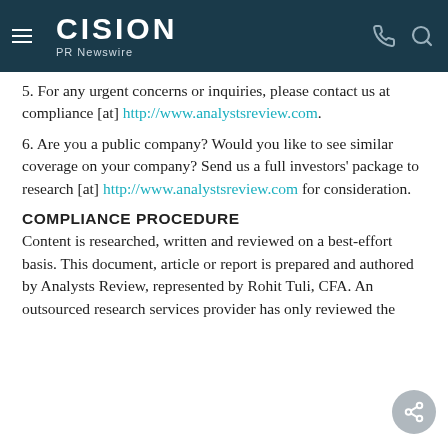CISION PR Newswire
5. For any urgent concerns or inquiries, please contact us at compliance [at] http://www.analystsreview.com.
6. Are you a public company? Would you like to see similar coverage on your company? Send us a full investors' package to research [at] http://www.analystsreview.com for consideration.
COMPLIANCE PROCEDURE
Content is researched, written and reviewed on a best-effort basis. This document, article or report is prepared and authored by Analysts Review, represented by Rohit Tuli, CFA. An outsourced research services provider has only reviewed the